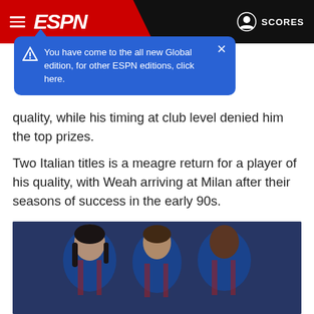ESPN
You have come to the all new Global edition, for other ESPN editions, click here.
quality, while his timing at club level denied him the top prizes.
Two Italian titles is a meagre return for a player of his quality, with Weah arriving at Milan after their seasons of success in the early 90s.
Jay-Jay Okocha and Abedi Pele are players whose natural talent eclipsed Drogba's, but who never came close to matching his sustained levels of success.
[Figure (photo): Three football players in blue and red striped Barcelona jerseys standing side by side: Ronaldinho on the left, Lionel Messi in the center, and Samuel Eto'o on the right.]